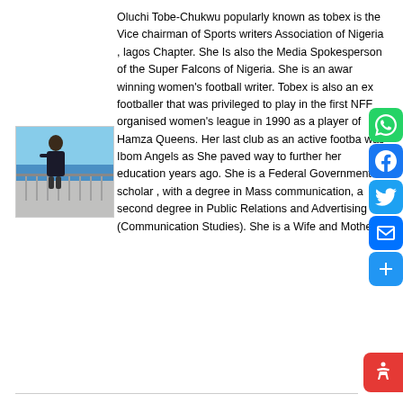[Figure (photo): Person standing on a deck or pier with sea/ocean in background, wearing dark jacket]
Oluchi Tobe-Chukwu popularly known as tobex is the Vice chairman of Sports writers Association of Nigeria , lagos Chapter. She Is also the Media Spokesperson of the Super Falcons of Nigeria. She is an award winning women's football writer. Tobex is also an ex footballer that was privileged to play in the first NFF organised women's league in 1990 as a player of Hamza Queens. Her last club as an active footballer was Ibom Angels as She paved way to further her education years ago. She is a Federal Government scholar , with a degree in Mass communication, a second degree in Public Relations and Advertising (Communication Studies). She is a Wife and Mother.